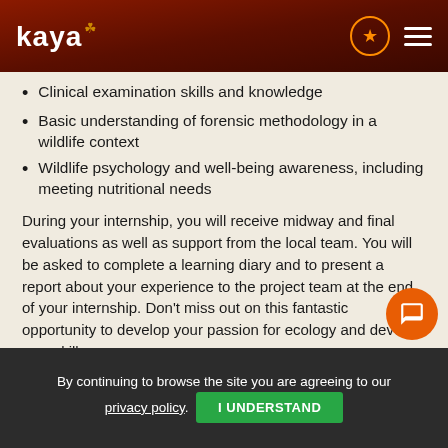kaya
Clinical examination skills and knowledge
Basic understanding of forensic methodology in a wildlife context
Wildlife psychology and well-being awareness, including meeting nutritional needs
During your internship, you will receive midway and final evaluations as well as support from the local team. You will be asked to complete a learning diary and to present a report about your experience to the project team at the end of your internship. Don't miss out on this fantastic opportunity to develop your passion for ecology and develop new skills.
What skills do I need to be a Veterinary Inte...
By continuing to browse the site you are agreeing to our privacy policy. I UNDERSTAND